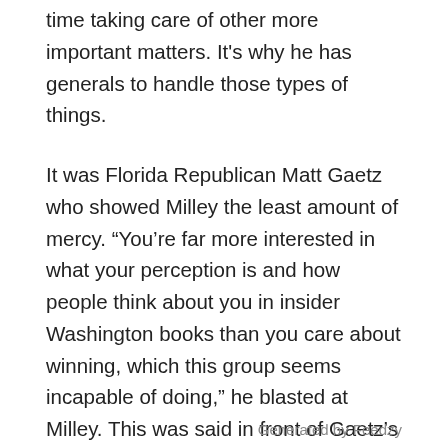time taking care of other more important matters. It's why he has generals to handle those types of things.
It was Florida Republican Matt Gaetz who showed Milley the least amount of mercy. “You’re far more interested in what your perception is and how people think about you in insider Washington books than you care about winning, which this group seems incapable of doing,” he blasted at Milley. This was said in front of Gaetz’s colleagues, head of US Central Command, Gen. Frank McKenzie, and Defense Secretary Lloyd Austin.
Generated by Feedzy